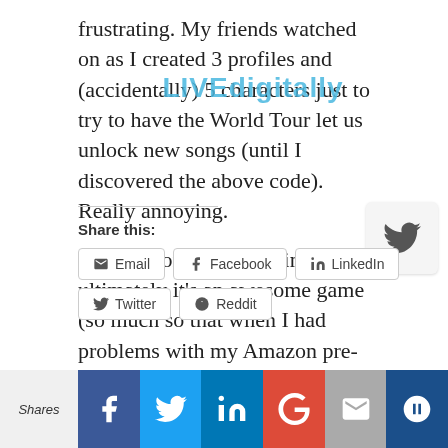frustrating. My friends watched on as I created 3 profiles and (accidentally) 5 characters just to try to have the World Tour let us unlock new songs (until I discovered the above code). Really annoying.
That’s it for my complaints, ultimately it’s an awesome game (so much so that when I had problems with my Amazon pre-order, I purchased the only copy on the island of Kauai during my vacation last month). Playing live with other folks online is super-fun, and anyone who wants to jam, get in touch!
[Figure (logo): LIVEdigitally watermark text overlay in cyan/blue]
[Figure (logo): Twitter bird icon in a light grey rounded square button]
Share this:
Email
Facebook
LinkedIn
Twitter
Reddit
Shares | Facebook | Twitter | LinkedIn | Google+ | Email | Crown/Sumo